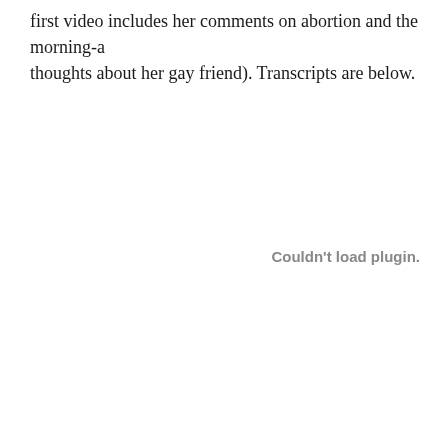first video includes her comments on abortion and the morning-a… thoughts about her gay friend). Transcripts are below.
[Figure (other): Embedded video plugin area showing 'Couldn't load plugin.' error message]